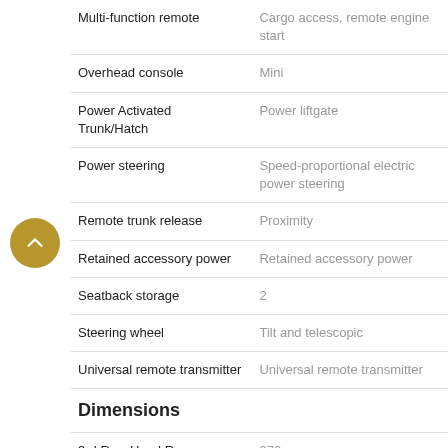| Feature | Detail |
| --- | --- |
| Multi-function remote | Cargo access, remote engine start |
| Overhead console | Mini |
| Power Activated Trunk/Hatch | Power liftgate |
| Power steering | Speed-proportional electric power steering |
| Remote trunk release | Proximity |
| Retained accessory power | Retained accessory power |
| Seatback storage | 2 |
| Steering wheel | Tilt and telescopic |
| Universal remote transmitter | Universal remote transmitter |
Dimensions
| Feature | Detail |
| --- | --- |
| 3rd Row Head Room | 970 mm |
| 3rd Row Hip Room | 1,255 mm |
| 3rd Row Leg Room | 932 mm |
| 3rd Row Shoulder Room | 1,595 mm |
| Angle of Approach | 31.5 degrees |